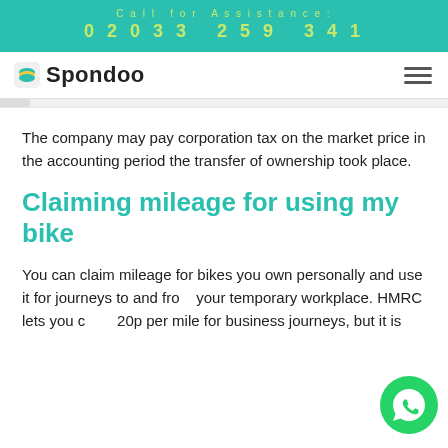Call for Assistance:
02033 259 341
[Figure (logo): Spondoo logo with icon and wordmark]
The company may pay corporation tax on the market price in the accounting period the transfer of ownership took place.
Claiming mileage for using my bike
You can claim mileage for bikes you own personally and use it for journeys to and from your temporary workplace. HMRC lets you claim 20p per mile for business journeys, but it is